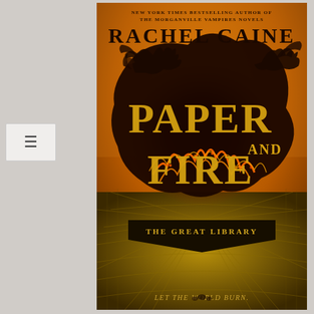[Figure (illustration): Book cover for 'Paper and Fire' by Rachel Caine, part of The Great Library series. Features a dramatic fiery scene with dark dragons/creatures silhouetted against an orange and gold background. The title 'Paper and Fire' appears in large gold lettering over a dark burning mass in the center. Below is a library corridor in golden tones. A series badge reads 'The Great Library' and tagline 'Let the world burn.' appears at the bottom.]